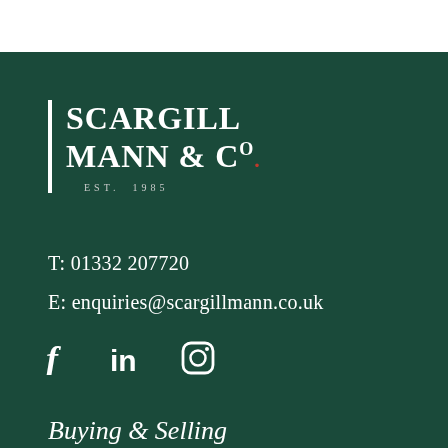[Figure (logo): Scargill Mann & Co logo with white vertical bar, serif company name in uppercase white text, red superscript 'o' and dot, and 'EST. 1985' in small spaced text below]
T: 01332 207720
E: enquiries@scargillmann.co.uk
[Figure (other): Social media icons: Facebook, LinkedIn, Instagram in white on dark green background]
Buying & Selling